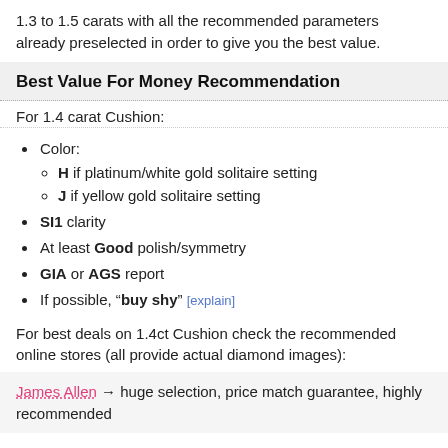1.3 to 1.5 carats with all the recommended parameters already preselected in order to give you the best value.
Best Value For Money Recommendation
For 1.4 carat Cushion:
Color:
H if platinum/white gold solitaire setting
J if yellow gold solitaire setting
SI1 clarity
At least Good polish/symmetry
GIA or AGS report
If possible, "buy shy" [explain]
For best deals on 1.4ct Cushion check the recommended online stores (all provide actual diamond images):
James Allen → huge selection, price match guarantee, highly recommended